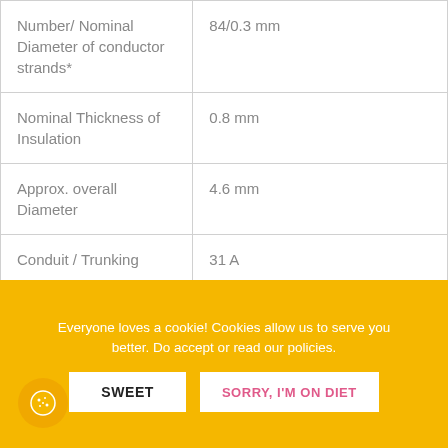| Property | Value |
| --- | --- |
| Number/ Nominal Diameter of conductor strands* | 84/0.3 mm |
| Nominal Thickness of Insulation | 0.8 mm |
| Approx. overall Diameter | 4.6 mm |
| Conduit / Trunking | 31 A |
| Unenclosed clipped directly to a surface or on cable trays | 37 A |
Everyone loves a cookie! Cookies allow us to serve you better. Do accept or read our policies.